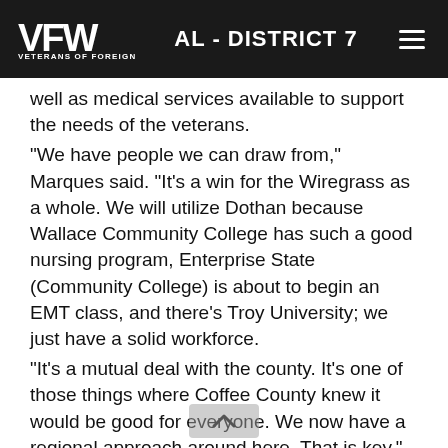VFW - VETERANS OF FOREIGN WARS | AL - DISTRICT 7
well as medical services available to support the needs of the veterans.
"We have people we can draw from," Marques said. "It's a win for the Wiregrass as a whole. We will utilize Dothan because Wallace Community College has such a good nursing program, Enterprise State (Community College) is about to begin an EMT class, and there's Troy University; we just have a solid workforce.
"It's a mutual deal with the county. It's one of those things where Coffee County knew it would be good for everyone. We now have a regional approach around here. That is key."
Marques credited the presentation package put together by the Wiregrass Economic Development, the city of Enterprise, and the support of Coffee